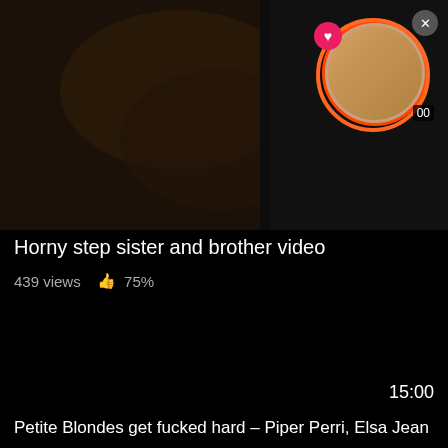[Figure (screenshot): Video thumbnail showing blurred adult content with a circular popup overlay, heart icon, close button, and popup video preview with orange/red ring border]
Horny step sister and brother video
439 views  👍 75%
[Figure (screenshot): Black video player area with duration 15:00 shown in bottom right]
Petite Blondes get fucked hard – Piper Perri, Elsa Jean